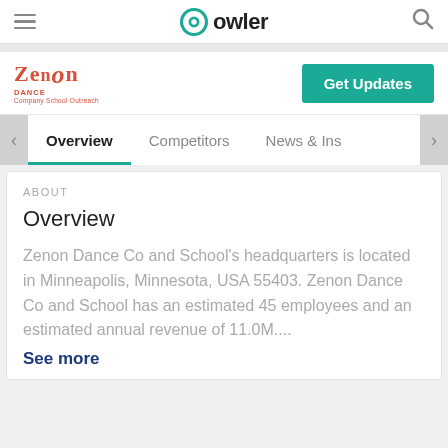owler
[Figure (logo): Zenon Dance Company School Outreach logo in red/orange text]
Get Updates
Overview | Competitors | News & Ins
ABOUT
Overview
Zenon Dance Co and School's headquarters is located in Minneapolis, Minnesota, USA 55403. Zenon Dance Co and School has an estimated 45 employees and an estimated annual revenue of 11.0M....
See more